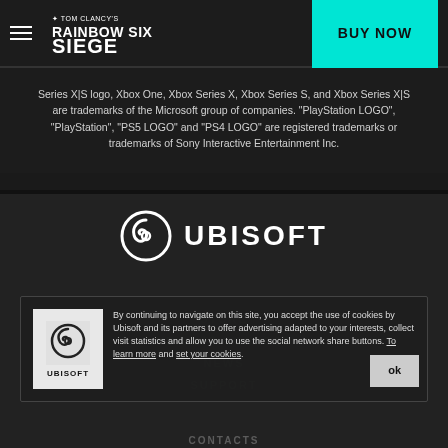[Figure (logo): Tom Clancy's Rainbow Six Siege game logo in white text on dark nav bar, with hamburger menu icon on left and BUY NOW button in teal on right]
Series X|S logo, Xbox One, Xbox Series X, Xbox Series S, and Xbox Series X|S are trademarks of the Microsoft group of companies. "PlayStation LOGO", "PlayStation", "PS5 LOGO" and "PS4 LOGO" are registered trademarks or trademarks of Sony Interactive Entertainment Inc.
[Figure (logo): Ubisoft logo: circular swirl icon in white followed by UBISOFT text in white bold letters on dark background]
[Figure (logo): Ubisoft square logo on light gray background with UBISOFT label below, inside cookie consent overlay box]
By continuing to navigate on this site, you accept the use of cookies by Ubisoft and its partners to offer advertising adapted to your interests, collect visit statistics and allow you to use the social network share buttons. To learn more and set your cookies.